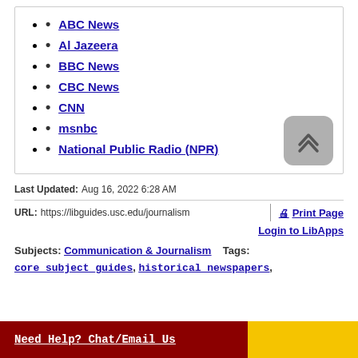ABC News
Al Jazeera
BBC News
CBC News
CNN
msnbc
National Public Radio (NPR)
Last Updated: Aug 16, 2022 6:28 AM
URL: https://libguides.usc.edu/journalism
Print Page
Login to LibApps
Subjects: Communication & Journalism   Tags:
core_subject_guides, historical_newspapers,
Need Help? Chat/Email Us